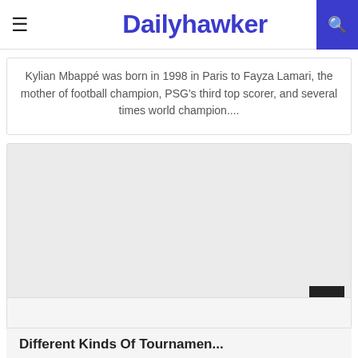Dailyhawker
Kylian Mbappé was born in 1998 in Paris to Fayza Lamari, the mother of football champion, PSG's third top scorer, and several times world champion....
[Figure (other): Gray placeholder image block]
Different Kinds Of Tournamen...